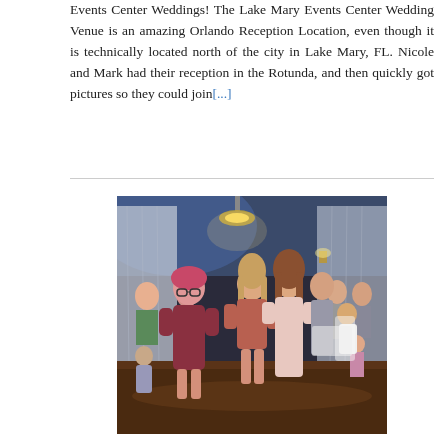Events Center Weddings! The Lake Mary Events Center Wedding Venue is an amazing Orlando Reception Location, even though it is technically located north of the city in Lake Mary, FL. Nicole and Mark had their reception in the Rotunda, and then quickly got pictures so they could join[...]
[Figure (photo): Wedding reception photo showing women dancing on a dance floor inside an elegant ballroom with white drapes, blue ambient lighting, and a chandelier. Several guests in the background. Three women in the foreground wearing mauve/dusty rose colored dresses.]